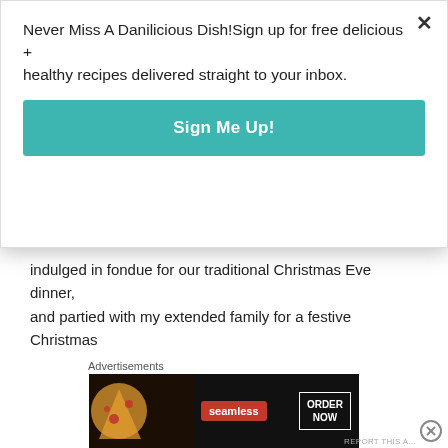Never Miss A Danilicious Dish!Sign up for free delicious + healthy recipes delivered straight to your inbox.
Sign Me Up!
indulged in fondue for our traditional Christmas Eve dinner, and partied with my extended family for a festive Christmas Day party.
Then later on Christmas Day, we went to Bloomington, IL to visit my husband’s family and had the BEST Christmas dinner with the most amazing prime rib I have ever had. My father-in-law is a master on the grill!
Advertisements
[Figure (screenshot): Seamless advertisement banner showing pizza and ORDER NOW button]